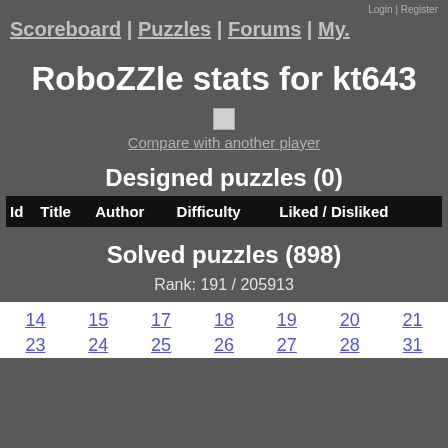Scoreboard | Puzzles | Forums | My. Login | Register
RoboZZle stats for kt643
[Figure (photo): Broken/missing avatar image icon]
Compare with another player
Designed puzzles (0)
| Id | Title | Author | Difficulty | Liked / Disliked |
| --- | --- | --- | --- | --- |
Solved puzzles (898)
Rank: 191 / 205913
| 14 | 15 | 17 | 18 | 19 | 20 | 21 |
| 23 | 24 | 25 | 26 | 27 | 28 | 31 |